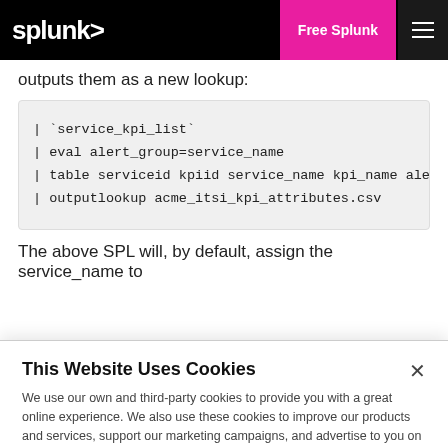splunk> | Free Splunk
outputs them as a new lookup:
| `service_kpi_list`
| eval alert_group=service_name
| table serviceid kpiid service_name kpi_name alert
| outputlookup acme_itsi_kpi_attributes.csv
The above SPL will, by default, assign the service_name to
This Website Uses Cookies
We use our own and third-party cookies to provide you with a great online experience. We also use these cookies to improve our products and services, support our marketing campaigns, and advertise to you on our website and other websites. Some cookies may continue to collect information after you have left our website. Learn more here ›
Accept Cookies
Cookies Settings ›